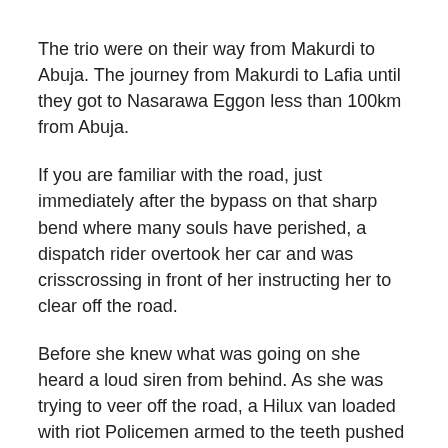The trio were on their way from Makurdi to Abuja. The journey from Makurdi to Lafia until they got to Nasarawa Eggon less than 100km from Abuja.
If you are familiar with the road, just immediately after the bypass on that sharp bend where many souls have perished, a dispatch rider overtook her car and was crisscrossing in front of her instructing her to clear off the road.
Before she knew what was going on she heard a loud siren from behind. As she was trying to veer off the road, a Hilux van loaded with riot Policemen armed to the teeth pushed her car off the road. In her agitated state she managed to bring the car to a halt in front of the valley.
Immediately she brought the car to a stopped four riot